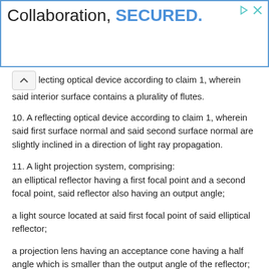[Figure (other): Advertisement banner with text 'Collaboration, SECURED.' in blue and black, with a blue border outline]
lecting optical device according to claim 1, wherein said interior surface contains a plurality of flutes.
10. A reflecting optical device according to claim 1, wherein said first surface normal and said second surface normal are slightly inclined in a direction of light ray propagation.
11. A light projection system, comprising:
an elliptical reflector having a first focal point and a second focal point, said reflector also having an output angle;
a light source located at said first focal point of said elliptical reflector;
a projection lens having an acceptance cone having a half angle which is smaller than the output angle of the reflector; and
a reflecting optical device having an input aperture located at said second focal point of said elliptical reflector, an output aperture which is larger than said input aperture, and a reflective inner surface connecting said input aperture and said output aperture, said inner surface reflecting light rays